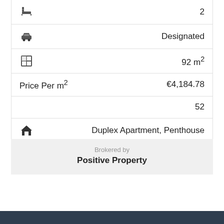🛁 2
🚗 Designated
⊞ 92 m²
Price Per m² €4,184.78
52
🏠 Duplex Apartment, Penthouse
Brokered by
Positive Property